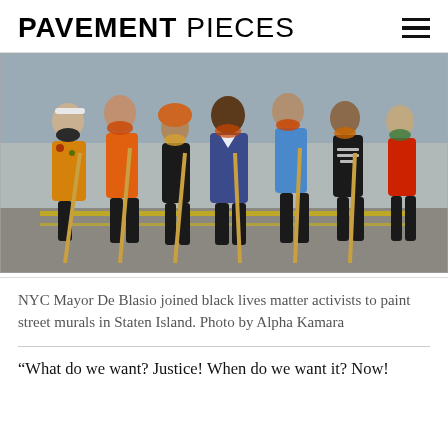PAVEMENT PIECES
[Figure (photo): Group of people including NYC Mayor De Blasio wearing masks and holding long-handled paint rollers, painting street murals. Several people wearing colorful outfits and face masks are bent over working. One person wears a shirt reading 'I Can't Breathe'.]
NYC Mayor De Blasio joined black lives matter activists to paint street murals in Staten Island. Photo by Alpha Kamara
“What do we want? Justice! When do we want it? Now!